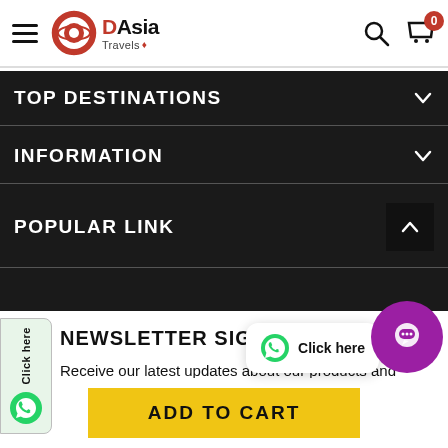DAsia Travels — navigation header with hamburger menu, logo, search icon, and cart icon showing 0
TOP DESTINATIONS
INFORMATION
POPULAR LINK
NEWSLETTER SIGN UP
Receive our latest updates about our products and promotions.
[Figure (screenshot): WhatsApp Click here tab on left side]
[Figure (screenshot): WhatsApp Click popup bottom right with chat bubble]
ADD TO CART